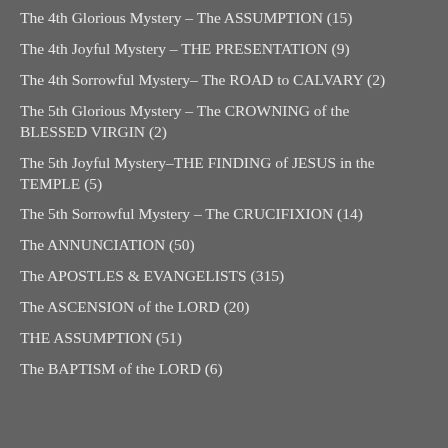The 4th Glorious Mystery – The ASSUMPTION (15)
The 4th Joyful Mystery – THE PRESENTATION (9)
The 4th Sorrowful Mystery– The ROAD to CALVARY (2)
The 5th Glorious Mystery – The CROWNING of the BLESSED VIRGIN (2)
The 5th Joyful Mystery–THE FINDING of JESUS in the TEMPLE (5)
The 5th Sorrowful Mystery – The CRUCIFIXION (14)
The ANNUNCIATION (50)
The APOSTLES & EVANGELISTS (315)
The ASCENSION of the LORD (20)
THE ASSUMPTION (51)
The BAPTISM of the LORD (6)